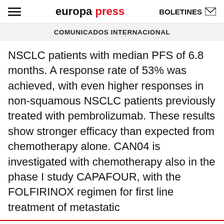europa press | BOLETINES
COMUNICADOS INTERNACIONAL
NSCLC patients with median PFS of 6.8 months. A response rate of 53% was achieved, with even higher responses in non-squamous NSCLC patients previously treated with pembrolizumab. These results show stronger efficacy than expected from chemotherapy alone. CAN04 is investigated with chemotherapy also in the phase I study CAPAFOUR, with the FOLFIRINOX regimen for first line treatment of metastatic
[Figure (other): Walgreens Photo advertisement banner with logo, text 'Ahorra en cosméticos selectos Walgreens Photo', and a blue arrow icon]